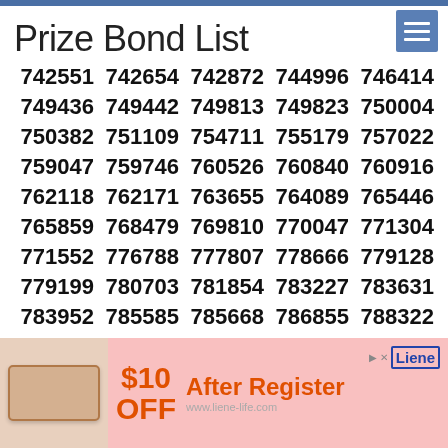Prize Bond List
742551  742654  742872  744996  746414
749436  749442  749813  749823  750004
750382  751109  754711  755179  757022
759047  759746  760526  760840  760916
762118  762171  763655  764089  765446
765859  768479  769810  770047  771304
771552  776788  777807  778666  779128
779199  780703  781854  783227  783631
783952  785585  785668  786855  788322
788512  788559  790491  790674  791605
793309  793759  795009  795247  795817
796057  797383  797527  797972  799464
...1  803568  805837  806614  806754
[Figure (infographic): Advertisement banner: pink background, printer image, $10 OFF After Register, Liene brand logo and URL www.liene-life.com]